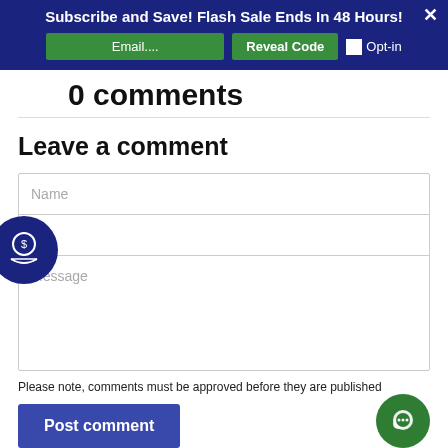Subscribe and Save! Flash Sale Ends In 48 Hours!
0 comments
Leave a comment
Name
Email
Message
Please note, comments must be approved before they are published
Post comment